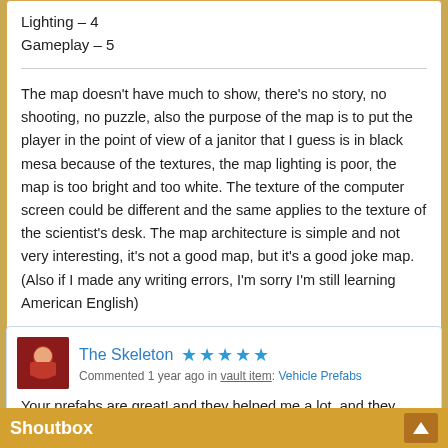Lighting – 4
Gameplay – 5
The map doesn't have much to show, there's no story, no shooting, no puzzle, also the purpose of the map is to put the player in the point of view of a janitor that I guess is in black mesa because of the textures, the map lighting is poor, the map is too bright and too white. The texture of the computer screen could be different and the same applies to the texture of the scientist's desk. The map architecture is simple and not very interesting, it's not a good map, but it's a good joke map. (Also if I made any writing errors, I'm sorry I'm still learning American English)
The Skeleton
Commented 1 year ago in vault item: Vehicle Prefabs
Your prefabs are great! and they helped me a lot, and they
Shoutbox